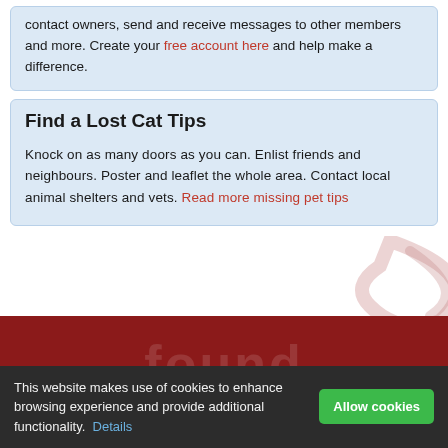contact owners, send and receive messages to other members and more. Create your free account here and help make a difference.
Find a Lost Cat Tips
Knock on as many doors as you can. Enlist friends and neighbours. Poster and leaflet the whole area. Contact local animal shelters and vets. Read more missing pet tips
[Figure (illustration): Faint watermark/logo graphic of a curved swoosh shape in light pink/red, partially visible]
[Figure (illustration): Dark red banner section with faint semi-transparent text reading 'found' and 'Pet' as background watermark text]
This website makes use of cookies to enhance browsing experience and provide additional functionality. Details Allow cookies